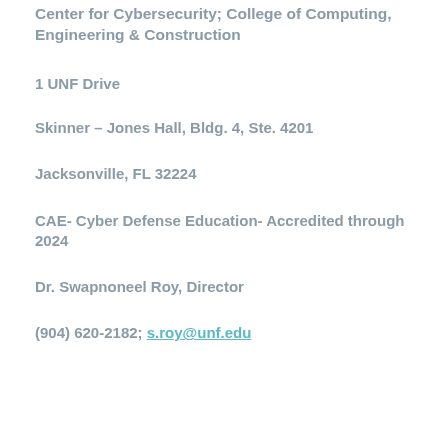Center for Cybersecurity; College of Computing, Engineering & Construction
1 UNF Drive
Skinner – Jones Hall, Bldg. 4, Ste. 4201
Jacksonville, FL 32224
CAE- Cyber Defense Education- Accredited through 2024
Dr. Swapnoneel Roy, Director
(904) 620-2182; s.roy@unf.edu